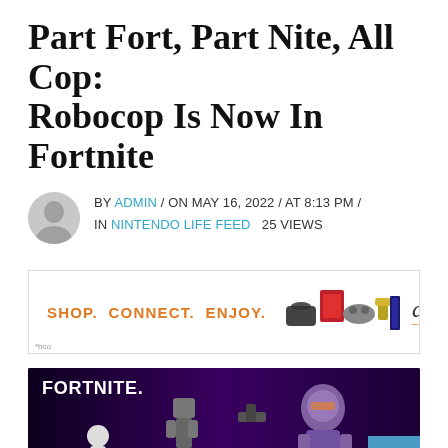Part Fort, Part Nite, All Cop: Robocop Is Now In Fortnite
BY ADMIN / ON MAY 16, 2022 / AT 8:13 PM / IN NINTENDO LIFE FEED   25 VIEWS
[Figure (infographic): Amazon advertisement banner: SHOP. CONNECT. ENJOY. with product images and Amazon logo]
[Figure (photo): Fortnite promotional image showing Robocop and other character skins against a purple background with FORTNITE logo]